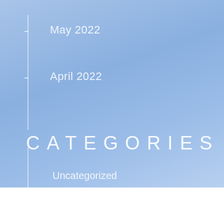May 2022
April 2022
CATEGORIES
Uncategorized